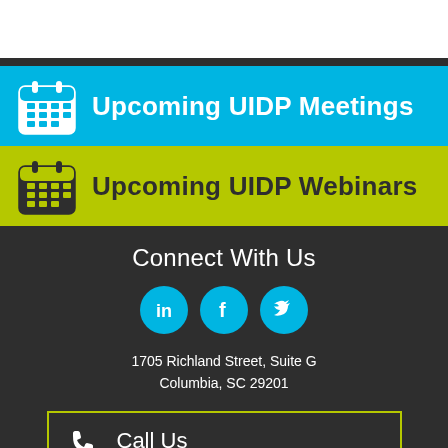Upcoming UIDP Meetings
Upcoming UIDP Webinars
Connect With Us
[Figure (infographic): Three social media icons: LinkedIn, Facebook, Twitter — cyan circles with white icons]
1705 Richland Street, Suite G
Columbia, SC 29201
Call Us